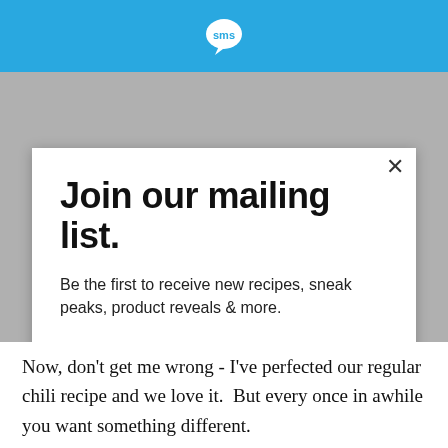SMS logo icon in header bar
Join our mailing list.
Be the first to receive new recipes, sneak peaks, product reveals & more.
Email address
Subscribe
Now, don't get me wrong - I've perfected our regular chili recipe and we love it.  But every once in awhile you want something different.